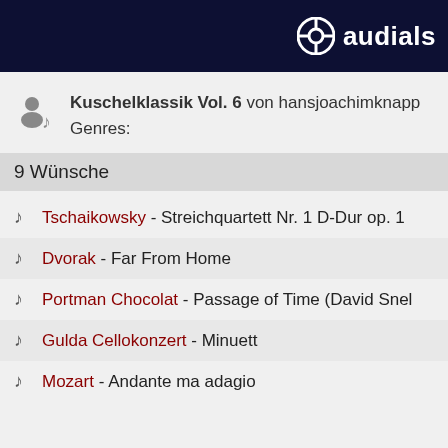audials
Kuschelklassik Vol. 6 von hansjoachimknapp
Genres:
9 Wünsche
Tschaikowsky - Streichquartett Nr. 1 D-Dur op. 1
Dvorak - Far From Home
Portman Chocolat - Passage of Time (David Snel
Gulda Cellokonzert - Minuett
Mozart - Andante ma adagio